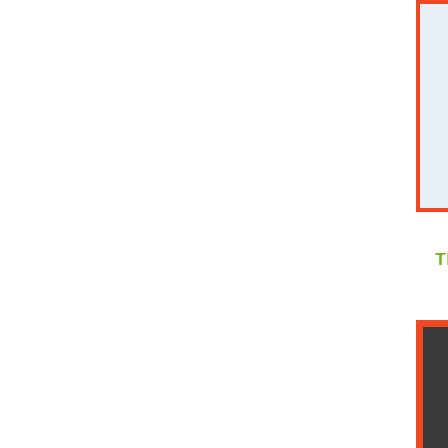[Figure (photo): Top portion of a framed image with light blue background showing hearts and text 'Big T' in italic serif font, with an orange border frame. Partially cropped at top.]
The Color Sisters
[Figure (photo): Framed image with orange border showing a LEGO Christmas scene: Santa Claus in a sleigh with reindeer flying over a city. On the right side are color swatches: SW 6258 Tricorn (dark/black), SW 27__ Fresco (light tan/beige), SW 9083 Dusted (medium gray), SW 6708 High St__ (olive/yellow-green), SW 6868 Real Re__ (red).]